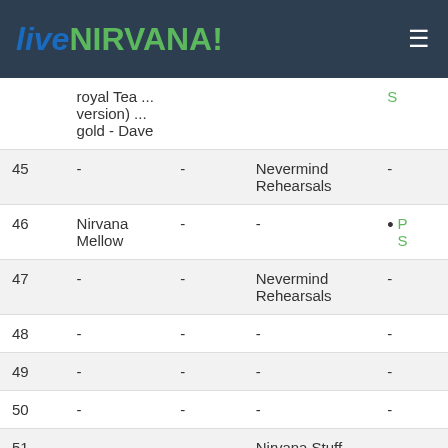liveNIRVANA!
| # | Col2 | Col3 | Col4 | Col5 |
| --- | --- | --- | --- | --- |
|  | royal Tea ... version) ... gold - Dave |  |  | S |
| 45 | - | - | Nevermind Rehearsals | - |
| 46 | Nirvana Mellow | - | - | P S |
| 47 | - | - | Nevermind Rehearsals | - |
| 48 | - | - | - | - |
| 49 | - | - | - | - |
| 50 | - | - | - | - |
| 51 | - | - | Nirvana Stuff | - |